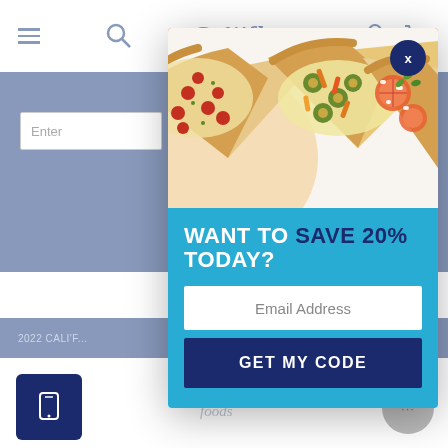[Figure (screenshot): Background website: Cali'flour Foods website with nav bar, blue/gray mid section, email input, Instagram icon, footer bar, and bottom area with mobile icon, close X, and chat button]
[Figure (photo): Pizza image at top of popup modal showing multiple cauliflower pizza slices with colorful toppings: pepperoni, olives, peppers, tomatoes, feta]
WANT TO SAVE 20% TODAY?
Email Address
GET MY CODE